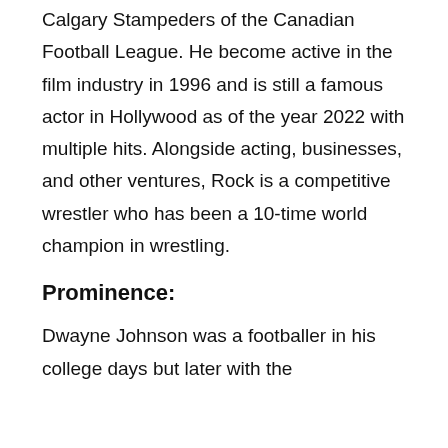Calgary Stampeders of the Canadian Football League. He become active in the film industry in 1996 and is still a famous actor in Hollywood as of the year 2022 with multiple hits. Alongside acting, businesses, and other ventures, Rock is a competitive wrestler who has been a 10-time world champion in wrestling.
Prominence:
Dwayne Johnson was a footballer in his college days but later with the